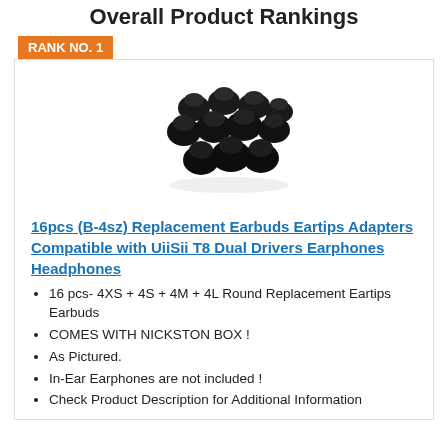Overall Product Rankings
RANK NO. 1
[Figure (photo): Photo of black replacement earbuds eartips arranged in a cluster on a white background]
16pcs (B-4sz) Replacement Earbuds Eartips Adapters Compatible with UiiSii T8 Dual Drivers Earphones Headphones
16 pcs- 4XS + 4S + 4M + 4L Round Replacement Eartips Earbuds
COMES WITH NICKSTON BOX !
As Pictured.
In-Ear Earphones are not included !
Check Product Description for Additional Information